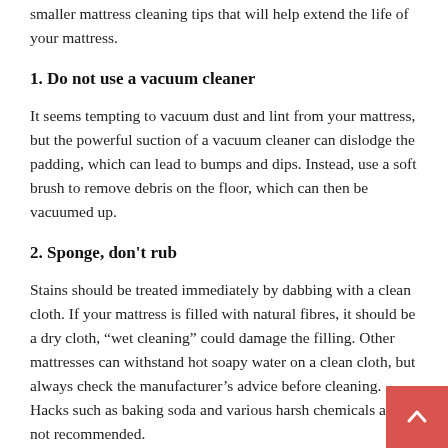smaller mattress cleaning tips that will help extend the life of your mattress.
1. Do not use a vacuum cleaner
It seems tempting to vacuum dust and lint from your mattress, but the powerful suction of a vacuum cleaner can dislodge the padding, which can lead to bumps and dips. Instead, use a soft brush to remove debris on the floor, which can then be vacuumed up.
2. Sponge, don't rub
Stains should be treated immediately by dabbing with a clean cloth. If your mattress is filled with natural fibres, it should be a dry cloth, “wet cleaning” could damage the filling. Other mattresses can withstand hot soapy water on a clean cloth, but always check the manufacturer’s advice before cleaning. Hacks such as baking soda and various harsh chemicals are not recommended.